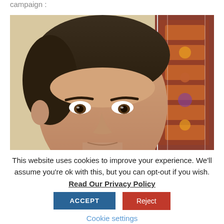campaign :
[Figure (photo): Close-up photo of a man's face with dark hair, photographed against a decorative patterned background (ornate mosaic or tile design in warm colors).]
This website uses cookies to improve your experience. We'll assume you're ok with this, but you can opt-out if you wish.
Read Our Privacy Policy
ACCEPT
Reject
Cookie settings